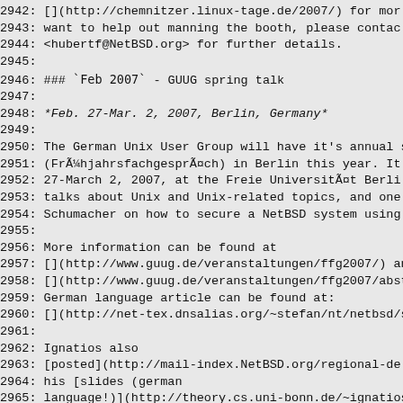2942: [](http://chemnitzer.linux-tage.de/2007/) for mor
2943: want to help out manning the booth, please contact
2944: <hubertf@NetBSD.org> for further details.
2945:
2946: ### `Feb 2007` - GUUG spring talk
2947:
2948: *Feb. 27-Mar. 2, 2007, Berlin, Germany*
2949:
2950: The German Unix User Group will have it's annual s
2951: (Früchjahrsfachgespräch) in Berlin this year. It
2952: 27-March 2, 2007, at the Freie Universität Berli
2953: talks about Unix and Unix-related topics, and one
2954: Schumacher on how to secure a NetBSD system using
2955:
2956: More information can be found at
2957: [](http://www.guug.de/veranstaltungen/ffg2007/) an
2958: [](http://www.guug.de/veranstaltungen/ffg2007/abst
2959: German language article can be found at:
2960: [](http://net-tex.dnsalias.org/~stefan/nt/netbsd/s
2961:
2962: Ignatios also
2963: [posted](http://mail-index.NetBSD.org/regional-de
2964: his [slides (german
2965: language!)](http://theory.cs.uni-bonn.de/~ignatios
2966:
2967: ### `Feb 2007` - FOSDEM 2007
2968:
2969: *Feb 24-25, 2007, Brussels, Belgium*
2970:
2971: on February 24 and 25, the Free and Open source So